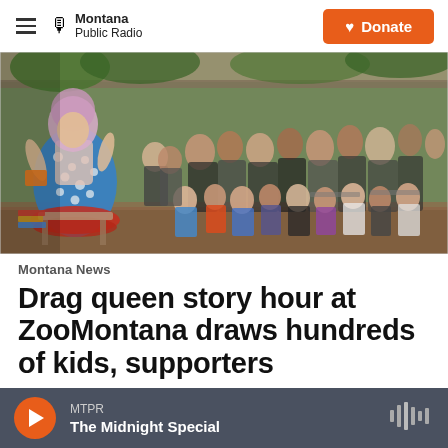Montana Public Radio | Donate
[Figure (photo): A drag queen in a blue polka dot dress reads to a large audience of children and adults seated under an outdoor pavilion at ZooMontana.]
Montana News
Drag queen story hour at ZooMontana draws hundreds of kids, supporters
Jess Sheldahl,  June 23, 2022
MTPR The Midnight Special